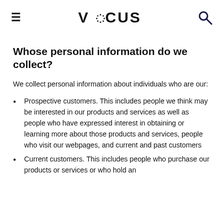≡  VOCUS  🔍
Whose personal information do we collect?
We collect personal information about individuals who are our:
Prospective customers. This includes people we think may be interested in our products and services as well as people who have expressed interest in obtaining or learning more about those products and services, people who visit our webpages, and current and past customers
Current customers. This includes people who purchase our products or services or who hold an